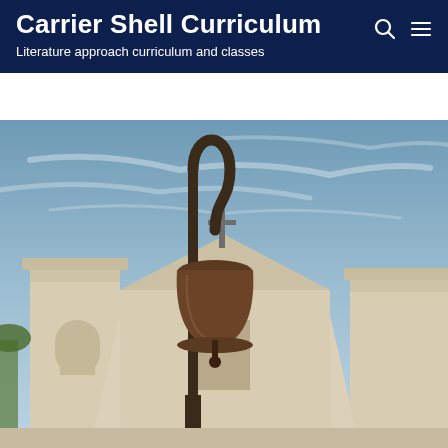Carrier Shell Curriculum
Literature approach curriculum and classes
[Figure (photo): A large bronze mission bell on a curved iron post in the foreground, with a white stucco California mission-style church building behind it under a partly cloudy blue sky. A metal cross is visible on the roof peak of the building.]